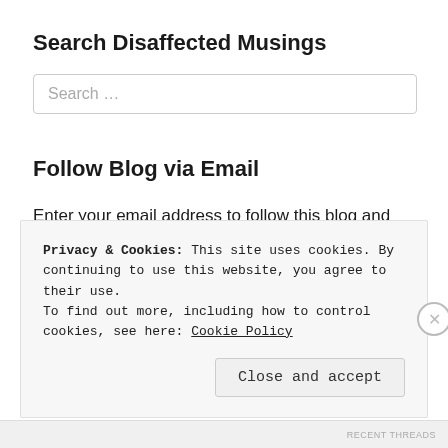Search Disaffected Musings
Search …
Follow Blog via Email
Enter your email address to follow this blog and receive notifications of new posts by email.
Enter your email address
Privacy & Cookies: This site uses cookies. By continuing to use this website, you agree to their use.
To find out more, including how to control cookies, see here: Cookie Policy
Close and accept
RECENT THREADS